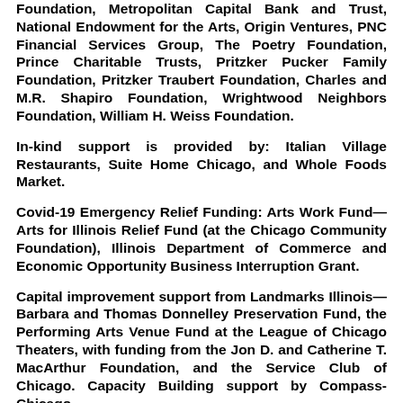Foundation, Metropolitan Capital Bank and Trust, National Endowment for the Arts, Origin Ventures, PNC Financial Services Group, The Poetry Foundation, Prince Charitable Trusts, Pritzker Pucker Family Foundation, Pritzker Traubert Foundation, Charles and M.R. Shapiro Foundation, Wrightwood Neighbors Foundation, William H. Weiss Foundation.
In-kind support is provided by: Italian Village Restaurants, Suite Home Chicago, and Whole Foods Market.
Covid-19 Emergency Relief Funding: Arts Work Fund—Arts for Illinois Relief Fund (at the Chicago Community Foundation), Illinois Department of Commerce and Economic Opportunity Business Interruption Grant.
Capital improvement support from Landmarks Illinois—Barbara and Thomas Donnelley Preservation Fund, the Performing Arts Venue Fund at the League of Chicago Theaters, with funding from the Jon D. and Catherine T. MacArthur Foundation, and the Service Club of Chicago. Capacity Building support by Compass-Chicago.
About Victory Gardens Theater